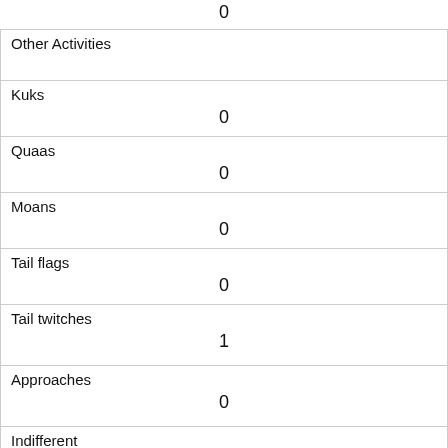|  | 0 |
| Other Activities |  |
| Kuks | 0 |
| Quaas | 0 |
| Moans | 0 |
| Tail flags | 0 |
| Tail twitches | 1 |
| Approaches | 0 |
| Indifferent | 0 |
| Runs from | 1 |
| Other Interactions |  |